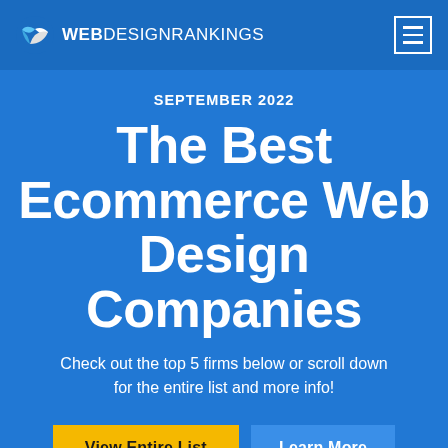WEBDESIGNRANKINGS
SEPTEMBER 2022
The Best Ecommerce Web Design Companies
Check out the top 5 firms below or scroll down for the entire list and more info!
View Entire List | Learn More